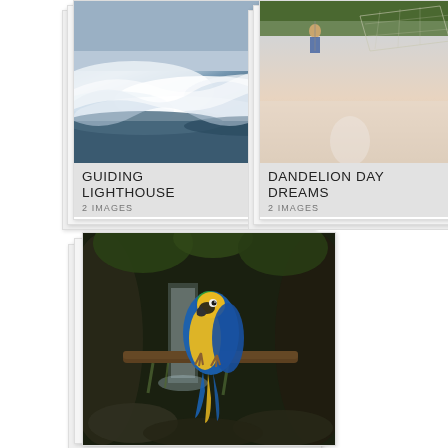[Figure (illustration): Card stack showing a painting of stormy ocean waves with a lighthouse, titled GUIDING LIGHTHOUSE, 2 IMAGES]
[Figure (illustration): Card stack showing a painting of children playing with dandelions in a dreamy sky scene, titled DANDELION DAY DREAMS, 2 IMAGES]
[Figure (illustration): Card stack showing a painting of a blue and yellow macaw parrot perched on a branch in a jungle waterfall setting]